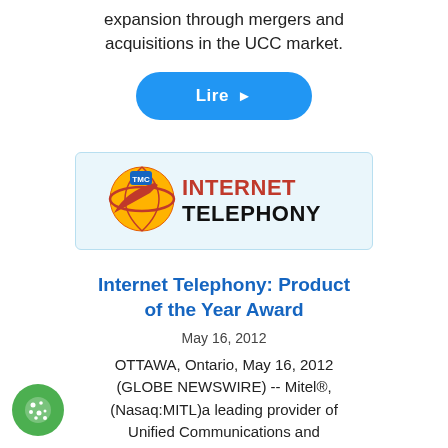expansion through mergers and acquisitions in the UCC market.
Lire ▶
[Figure (logo): TMC Internet Telephony magazine logo with globe graphic and red/black text]
Internet Telephony: Product of the Year Award
May 16, 2012
OTTAWA, Ontario, May 16, 2012 (GLOBE NEWSWIRE) -- Mitel®, (Nasaq:MITL)a leading provider of Unified Communications and